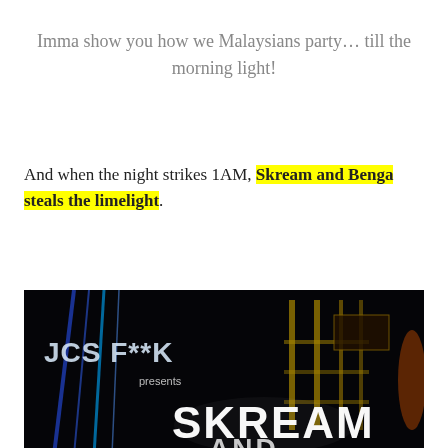Imma show you how we Malaysians party… till the morning light!
And when the night strikes 1AM, Skream and Benga steals the limelight.
[Figure (photo): Dark concert/event photo showing a stage backdrop with 'JCS FYK presents SKREAM AND...' text/logo projected in blue and white lights against a black background.]